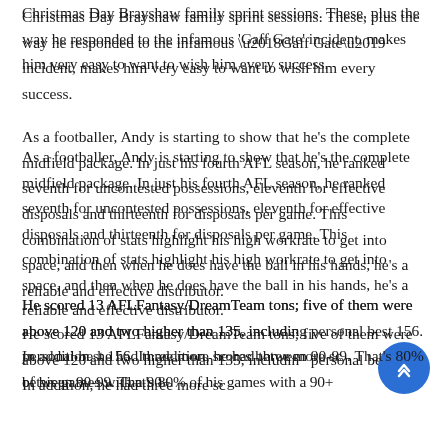Christmas Day Brayshaw family sprint sessions. These, plus the way he responded to the infamous ‘Gaff Gate’ incident, makes him very easy to want to wish him every success.
As a footballer, Andy is starting to show that he’s the complete midfield package. In just his fourth AFL season, he ranked seventh for uncontested possessions, eleventh for effective disposals and thirteenth for disposals per game. This combination of stats highlight his high workrate to get into space, and then when he does have the ball in his hands, he’s a reliable and effective distributor.
He scored 13 AFLFantasy/DreamTeam tons; five of them were above 120 and two higher than 135, including personal best 156. In addition, he had three more scores between 90-99. That’s 80% of his games with a 90+